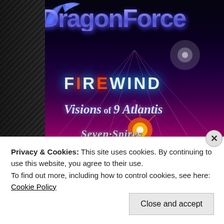[Figure (illustration): Concert/tour promotional image featuring DragonForce band name at top in large purple metallic letters with blue dragon wing decoration. Below are band names: Firewind in white metallic letters with cyan glow, Visions of Atlantis in italic silver, Seven Spires in italic gray. Background is retro synthwave style with purple/pink gradient grid and animated characters/musicians at bottom including a person with sunglasses. Left side has dark diagonal-striped sidebar.]
Privacy & Cookies: This site uses cookies. By continuing to use this website, you agree to their use.
To find out more, including how to control cookies, see here: Cookie Policy
Close and accept